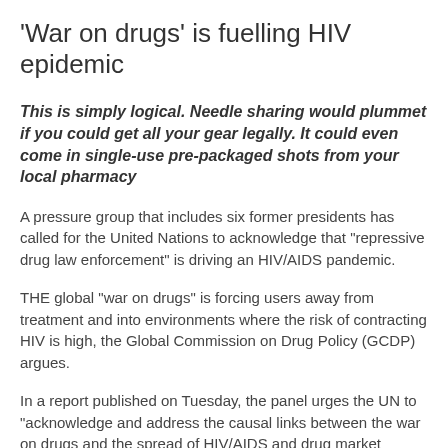'War on drugs' is fuelling HIV epidemic
This is simply logical. Needle sharing would plummet if you could get all your gear legally. It could even come in single-use pre-packaged shots from your local pharmacy
A pressure group that includes six former presidents has called for the United Nations to acknowledge that "repressive drug law enforcement" is driving an HIV/AIDS pandemic.
THE global "war on drugs" is forcing users away from treatment and into environments where the risk of contracting HIV is high, the Global Commission on Drug Policy (GCDP) argues.
In a report published on Tuesday, the panel urges the UN to "acknowledge and address the causal links between the war on drugs and the spread of HIV/AIDS and drug market